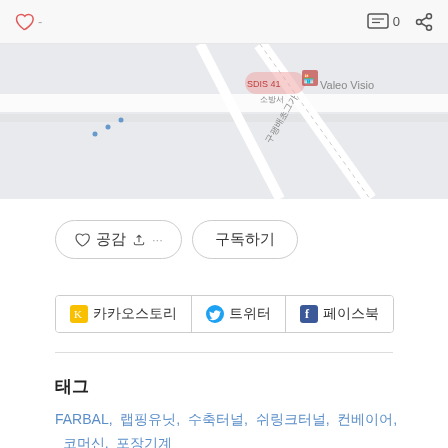♡ - 0 share
[Figure (map): A partial street/road map showing SDIS 41 소방서 and Valeo Vision labels, with road markings and blue dotted path]
♡ 공감  ↑ ···   구독하기
카카오스토리  트위터  페이스북
태그
FARBAL, 랩핑유닛, 수축터널, 쉬링크터널, 컨베이어, 코머신, 포장기계